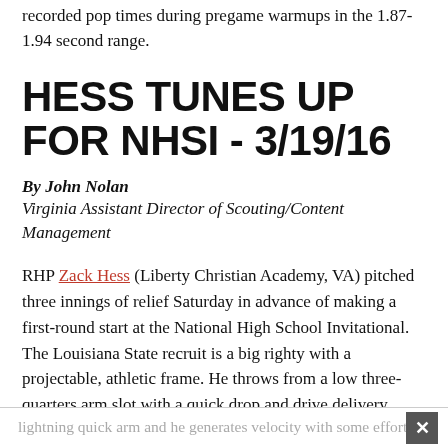recorded pop times during pregame warmups in the 1.87-1.94 second range.
HESS TUNES UP FOR NHSI - 3/19/16
By John Nolan
Virginia Assistant Director of Scouting/Content Management
RHP Zack Hess (Liberty Christian Academy, VA) pitched three innings of relief Saturday in advance of making a first-round start at the National High School Invitational. The Louisiana State recruit is a big righty with a projectable, athletic frame. He throws from a low three-quarters arm slot with a quick drop and drive delivery. Hess has a long, loose arm action and a
lightning quick arm and he generates velocity with some effort.